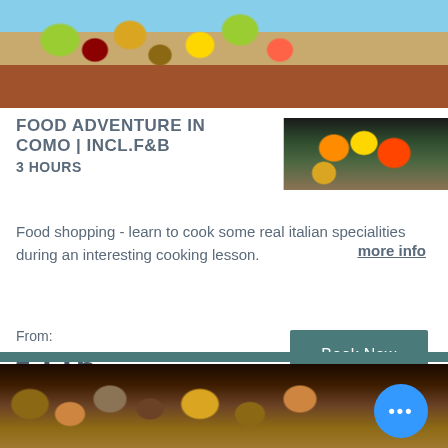[Figure (photo): Outdoor fruit and vegetable market stall with colorful produce including lemons, grapes, and other fruits displayed in baskets and on stands]
FOOD ADVENTURE IN COMO | INCL.F&B
3 HOURS
Food shopping - learn to cook some real italian specialities during an interesting cooking lesson.
more info
From:
€115
Book Now
[Figure (photo): Interior of a wine cellar or restaurant with stone walls, wooden shelves with bottles and food items in warm golden lighting]